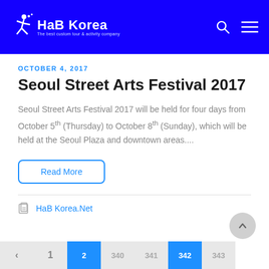HaB Korea – The best custom tour & activity company
OCTOBER 4, 2017
Seoul Street Arts Festival 2017
Seoul Street Arts Festival 2017 will be held for four days from October 5th (Thursday) to October 8th (Sunday), which will be held at the Seoul Plaza and downtown areas....
Read More
HaB Korea.Net